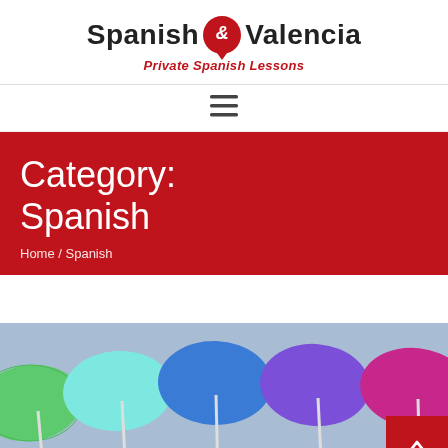[Figure (logo): Spanish & Valencia Private Spanish Lessons logo with red speech bubble containing ampersand]
[Figure (other): Hamburger menu icon (three horizontal lines)]
Category: Spanish
Home / Spanish
[Figure (photo): Colorful beach umbrellas photographed from below against a blue sky — green, teal, blue, purple, and magenta umbrellas in a row]